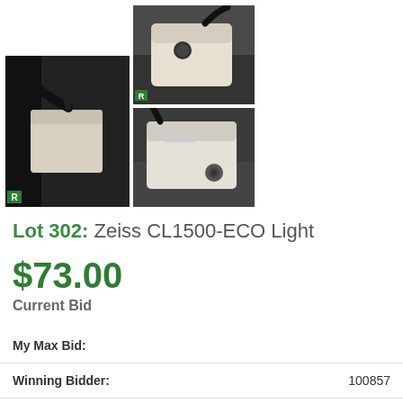[Figure (photo): Three photos of a Zeiss CL1500-ECO light source device. Left: large main photo showing the unit with a black cable/fiber optic on a dark background. Top middle and right: two smaller photos of the white device from different angles.]
Lot 302: Zeiss CL1500-ECO Light
$73.00
Current Bid
| Field | Value |
| --- | --- |
| My Max Bid: |  |
| Winning Bidder: | 100857 |
| Watching: | 35 |
| Total Bids: | 19 |